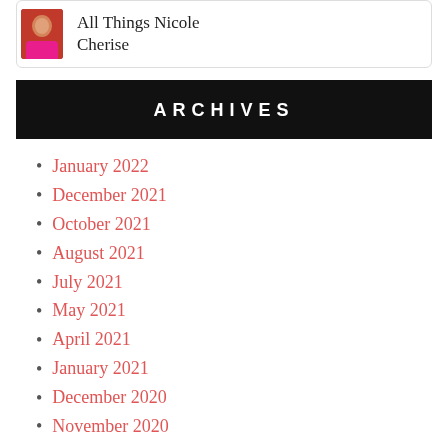[Figure (photo): Partial view of a card with a photo of a woman in a pink top on the left, and text 'All Things Nicole Cherise' on the right]
ARCHIVES
January 2022
December 2021
October 2021
August 2021
July 2021
May 2021
April 2021
January 2021
December 2020
November 2020
October 2020
September 2020